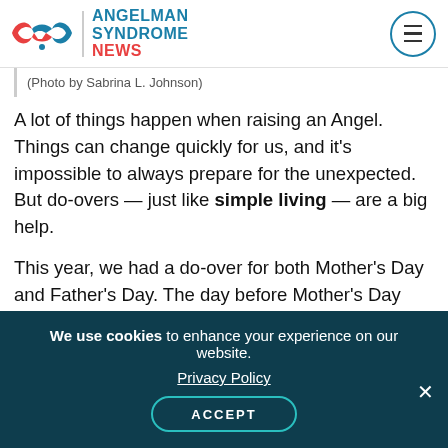Angelman Syndrome News
(Photo by Sabrina L. Johnson)
A lot of things happen when raising an Angel. Things can change quickly for us, and it’s impossible to always prepare for the unexpected. But do-overs — just like simple living — are a big help.
This year, we had a do-over for both Mother’s Day and Father’s Day. The day before Mother’s Day was a tough one for Juliana, which made it tough for me, too.
When I knew I would be too tired and uninterested
We use cookies to enhance your experience on our website. Privacy Policy ACCEPT